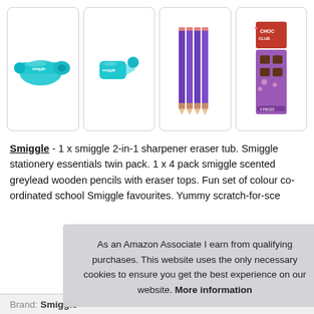[Figure (photo): Four product images in a row: (1) Smiggle teal 2-in-1 sharpener eraser tub, (2) smaller Smiggle sharpener with eraser, (3) four purple/copper Smiggle scented wooden pencils with eraser tops, (4) Smiggle choc-themed chocolate-scented stationery box]
Smiggle - 1 x smiggle 2-in-1 sharpener eraser tub. Smiggle stationery essentials twin pack. 1 x 4 pack smiggle scented greylead wooden pencils with eraser tops. Fun set of colour co-ordinated school Smiggle favourites. Yummy scratch-for-sce
As an Amazon Associate I earn from qualifying purchases. This website uses the only necessary cookies to ensure you get the best experience on our website. More information
Brand: Smiggle